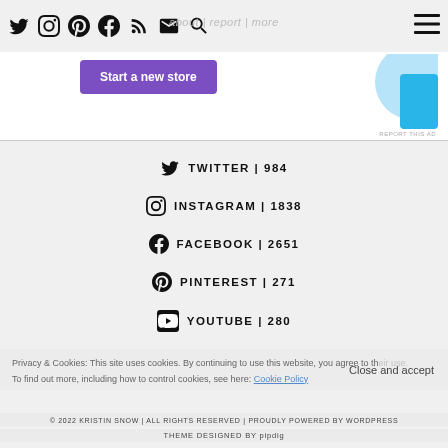How to Start Selling | about | report | more
[Figure (screenshot): Advertisement banner with purple 'Start a new store' button and blue decorative shape on right side]
TWITTER | 984
INSTAGRAM | 1838
FACEBOOK | 2651
PINTEREST | 271
YOUTUBE | 280
Privacy & Cookies: This site uses cookies. By continuing to use this website, you agree to their use. To find out more, including how to control cookies, see here: Cookie Policy
© 2022 KRISTIN SNOW | ALL RIGHTS RESERVED | PROUDLY POWERED BY WORDPRESS
THEME DESIGNED BY pipdig